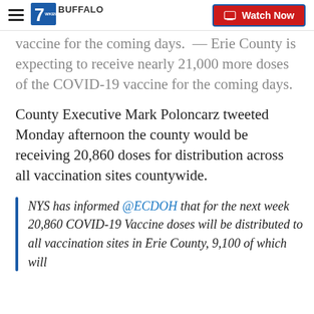7 WKBW Buffalo | Watch Now
vaccine for the coming days.  — Erie County is expecting to receive nearly 21,000 more doses of the COVID-19 vaccine for the coming days.
County Executive Mark Poloncarz tweeted Monday afternoon the county would be receiving 20,860 doses for distribution across all vaccination sites countywide.
NYS has informed @ECDOH that for the next week 20,860 COVID-19 Vaccine doses will be distributed to all vaccination sites in Erie County, 9,100 of which will